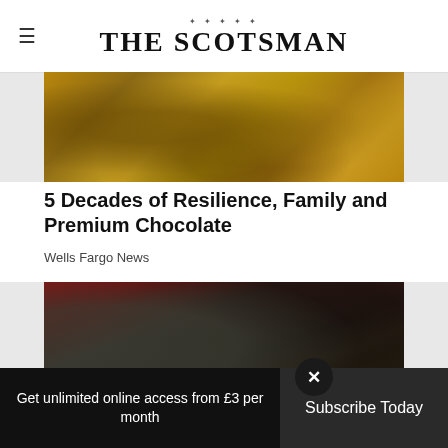THE SCOTSMAN
[Figure (photo): Close-up of golden chocolate molds or packaging with a honeycomb-like texture]
5 Decades of Resilience, Family and Premium Chocolate
Wells Fargo News
[Figure (photo): Close-up of a car engine being worked on, showing mechanical parts and a gloved hand]
Dine-in  Curbside pickup
Get unlimited online access from £3 per month
Subscribe Today